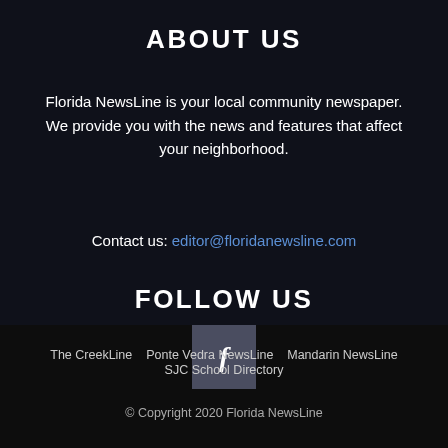ABOUT US
Florida NewsLine is your local community newspaper. We provide you with the news and features that affect your neighborhood.
Contact us: editor@floridanewsline.com
FOLLOW US
[Figure (other): Facebook icon button (letter f on dark square background)]
The CreekLine   Ponte Vedra NewsLine   Mandarin NewsLine   SJC School Directory
© Copyright 2020 Florida NewsLine